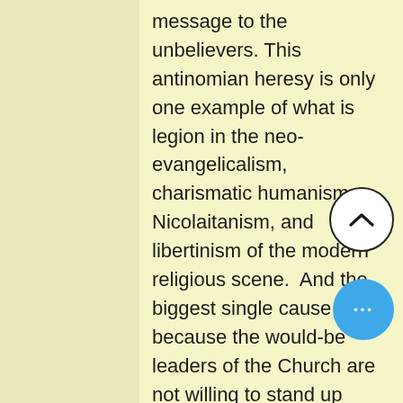message to the unbelievers. This antinomian heresy is only one example of what is legion in the neo-evangelicalism, charismatic humanism, Nicolaitanism, and libertinism of the modern religious scene.  And the biggest single cause is because the would-be leaders of the Church are not willing to stand up against the false prophets, preachers and teachers that have invaded the Church.

St. Paul is anxious that no one in the Galatian Churches get this self-centered, self-seeking, self-oriented view of righteousness by faith and the liberty into which Christ has